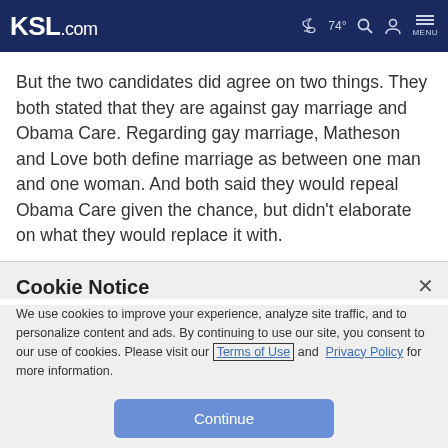KSL.com  74°  MENU
But the two candidates did agree on two things. They both stated that they are against gay marriage and Obama Care. Regarding gay marriage, Matheson and Love both define marriage as between one man and one woman. And both said they would repeal Obama Care given the chance, but didn't elaborate on what they would replace it with.
Cookie Notice
We use cookies to improve your experience, analyze site traffic, and to personalize content and ads. By continuing to use our site, you consent to our use of cookies. Please visit our Terms of Use and Privacy Policy for more information.
Continue